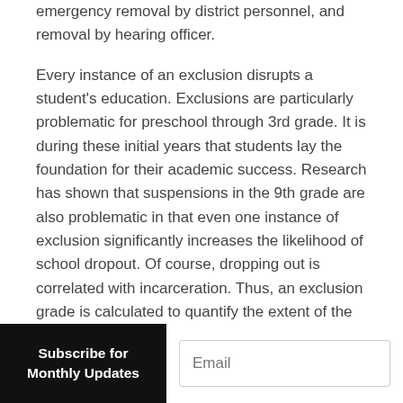emergency removal by district personnel, and removal by hearing officer.
Every instance of an exclusion disrupts a student's education. Exclusions are particularly problematic for preschool through 3rd grade. It is during these initial years that students lay the foundation for their academic success. Research has shown that suspensions in the 9th grade are also problematic in that even one instance of exclusion significantly increases the likelihood of school dropout. Of course, dropping out is correlated with incarceration. Thus, an exclusion grade is calculated to quantify the extent of the School-to-Prison pipeline problem.
To determine the exclusion grade, the fli...